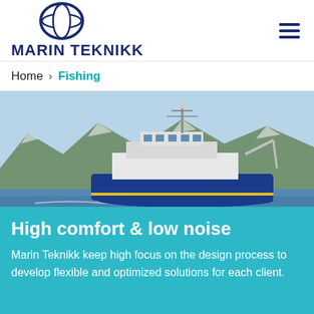[Figure (logo): Marin Teknikk circular globe logo with dark blue and white coloring]
MARIN TEKNIKK
Home > Fishing
[Figure (photo): A large blue and white fishing/research vessel sailing through a fjord with snow-capped mountains in the background]
High comfort & low noise
Marin Teknikk keep high focus on the design process to develop flexible and optimized solutions for each client.